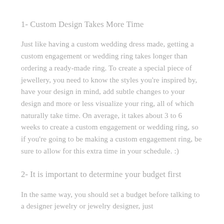1- Custom Design Takes More Time
Just like having a custom wedding dress made, getting a custom engagement or wedding ring takes longer than ordering a ready-made ring. To create a special piece of jewellery, you need to know the styles you're inspired by, have your design in mind, add subtle changes to your design and more or less visualize your ring, all of which naturally take time. On average, it takes about 3 to 6 weeks to create a custom engagement or wedding ring, so if you're going to be making a custom engagement ring, be sure to allow for this extra time in your schedule. :)
2- It is important to determine your budget first
In the same way, you should set a budget before talking to a designer jewelry or jewelry designer, just like...